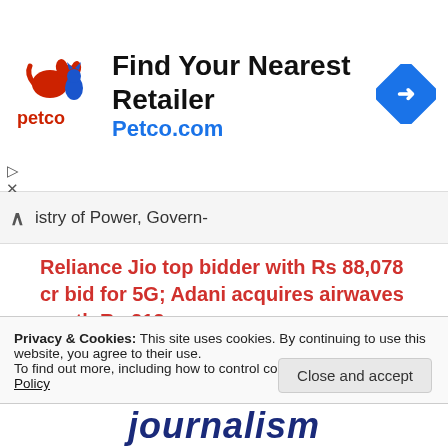[Figure (other): Petco advertisement banner with Petco logo (red dog and cat graphic with 'petco' text), headline 'Find Your Nearest Retailer', URL 'Petco.com', and a blue diamond-shaped arrow icon on the right.]
istry of Power, Govern-
Reliance Jio top bidder with Rs 88,078 cr bid for 5G; Adani acquires airwaves worth Rs 212 cr
New Delhi: Billionaire Mukesh Ambani's Reliance Jio on Monday emerged as the largest bidder for the 5G spectrum, acquiring close to
Privacy & Cookies: This site uses cookies. By continuing to use this website, you agree to their use.
To find out more, including how to control cookies, see here: Cookie Policy
Close and accept
journalism